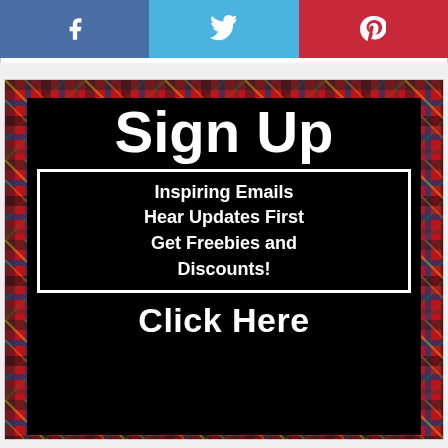[Figure (infographic): Social media share bar with Facebook (blue), Twitter (light blue), and Pinterest (red) icons]
[Figure (infographic): Sign Up promotional banner with tartan/plaid background and black overlay box. Text reads 'Sign Up', 'Inspiring Emails Hear Updates First Get Freebies and Discounts!', 'Click Here']